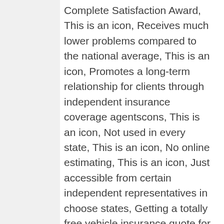Complete Satisfaction Award, This is an icon, Receives much lower problems compared to the national average, This is an icon, Promotes a long-term relationship for clients through independent insurance coverage agentscons, This is an icon, Not used in every state, This is an icon, No online estimating, This is an icon, Just accessible from certain independent representatives in choose states, Getting a totally free vehicle insurance quote for Auto-Owners Insurance to compare with other cars and truck companies is easy.
Customer Problem Ratio, The NAIC